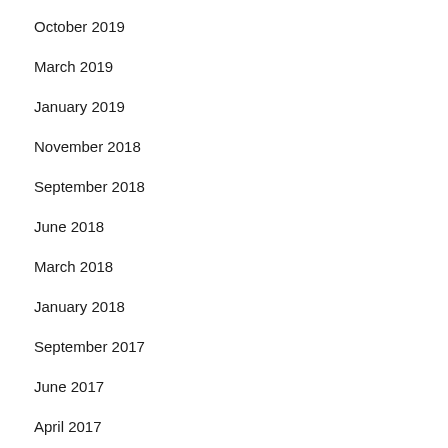October 2019
March 2019
January 2019
November 2018
September 2018
June 2018
March 2018
January 2018
September 2017
June 2017
April 2017